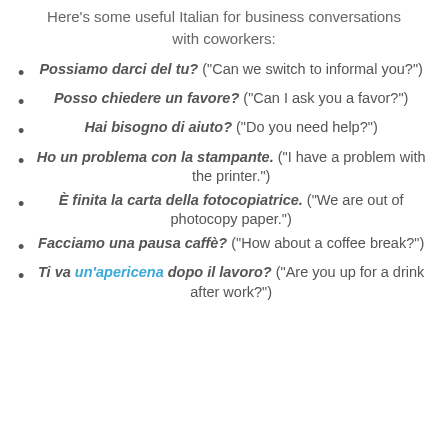Here's some useful Italian for business conversations with coworkers:
Possiamo darci del tu? ("Can we switch to informal you?")
Posso chiedere un favore? ("Can I ask you a favor?")
Hai bisogno di aiuto? ("Do you need help?")
Ho un problema con la stampante. ("I have a problem with the printer.")
È finita la carta della fotocopiatrice. ("We are out of photocopy paper.")
Facciamo una pausa caffè? ("How about a coffee break?")
Ti va un'apericena dopo il lavoro? ("Are you up for a drink after work?")